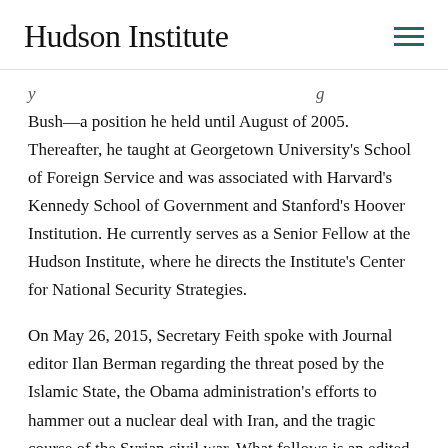Hudson Institute
Bush—a position he held until August of 2005. Thereafter, he taught at Georgetown University's School of Foreign Service and was associated with Harvard's Kennedy School of Government and Stanford's Hoover Institution. He currently serves as a Senior Fellow at the Hudson Institute, where he directs the Institute's Center for National Security Strategies.
On May 26, 2015, Secretary Feith spoke with Journal editor Ilan Berman regarding the threat posed by the Islamic State, the Obama administration's efforts to hammer out a nuclear deal with Iran, and the tragic course of the Syrian civil war. What follows is an edited